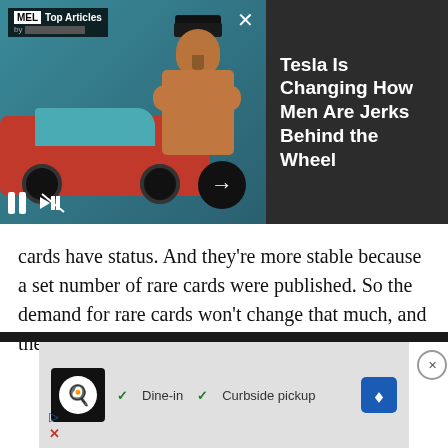[Figure (screenshot): MEL Top Articles video advertisement banner showing a red Tesla car and a shirtless muscular man with crossed arms and baseball cap, with playback controls at bottom-left and an arrow button. Right side shows dark panel with article title text.]
Tesla Is Changing How Men Are Jerks Behind the Wheel
cards have status. And they’re more stable because a set number of rare cards were published. So the demand for rare cards won’t change that much, and their value won’t change that much either.”
[Figure (screenshot): Advertisement banner showing a restaurant logo (chef icon), checkmarks for Dine-in and Curbside pickup options, a blue navigation/directions icon, and small ad indicator icons at bottom.]